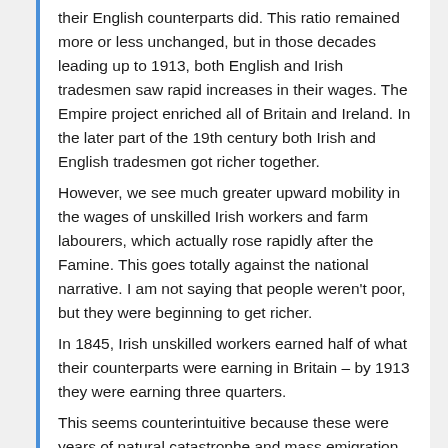their English counterparts did. This ratio remained more or less unchanged, but in those decades leading up to 1913, both English and Irish tradesmen saw rapid increases in their wages. The Empire project enriched all of Britain and Ireland. In the later part of the 19th century both Irish and English tradesmen got richer together.
However, we see much greater upward mobility in the wages of unskilled Irish workers and farm labourers, which actually rose rapidly after the Famine. This goes totally against the national narrative. I am not saying that people weren't poor, but they were beginning to get richer.
In 1845, Irish unskilled workers earned half of what their counterparts were earning in Britain – by 1913 they were earning three quarters.
This seems counterintuitive because these were years of natural catastrophe and mass emigration – and surely that should be the key metric for any